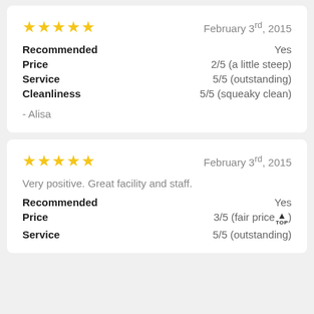★★★★★   February 3rd, 2015
Recommended: Yes
Price: 2/5 (a little steep)
Service: 5/5 (outstanding)
Cleanliness: 5/5 (squeaky clean)
- Alisa
★★★★★   February 3rd, 2015
Very positive. Great facility and staff.
Recommended: Yes
Price: 3/5 (fair price)
Service: 5/5 (outstanding)